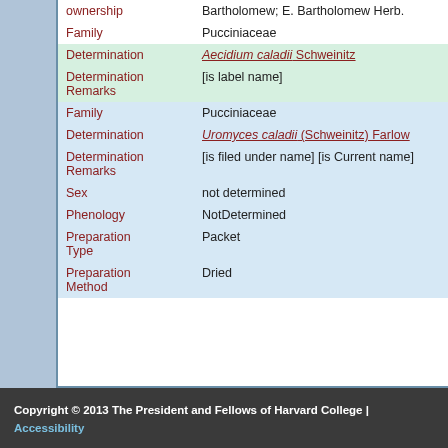| Field | Value |
| --- | --- |
| ownership | Bartholomew; E. Bartholomew Herb. |
| Family | Pucciniaceae |
| Determination | Aecidium caladii Schweinitz |
| Determination Remarks | [is label name] |
| Family | Pucciniaceae |
| Determination | Uromyces caladii (Schweinitz) Farlow |
| Determination Remarks | [is filed under name] [is Current name] |
| Sex | not determined |
| Phenology | NotDetermined |
| Preparation Type | Packet |
| Preparation Method | Dried |
Copyright © 2013 The President and Fellows of Harvard College | Accessibility